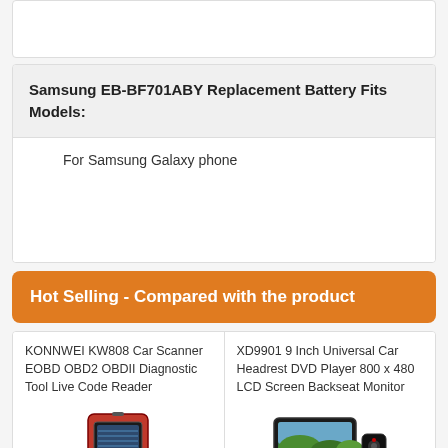Samsung EB-BF701ABY Replacement Battery Fits Models:
For Samsung Galaxy phone
Hot Selling - Compared with the product
KONNWEI KW808 Car Scanner EOBD OBD2 OBDII Diagnostic Tool Live Code Reader
[Figure (photo): KONNWEI KW808 Car Scanner device product image]
XD9901 9 Inch Universal Car Headrest DVD Player 800 x 480 LCD Screen Backseat Monitor
[Figure (photo): XD9901 9 Inch Universal Car Headrest DVD Player product image]